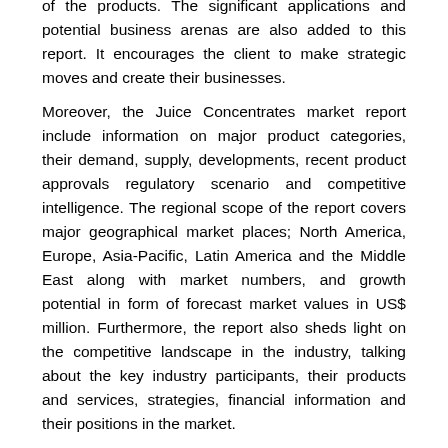of the products. The significant applications and potential business arenas are also added to this report. It encourages the client to make strategic moves and create their businesses.
Moreover, the Juice Concentrates market report include information on major product categories, their demand, supply, developments, recent product approvals regulatory scenario and competitive intelligence. The regional scope of the report covers major geographical market places; North America, Europe, Asia-Pacific, Latin America and the Middle East along with market numbers, and growth potential in form of forecast market values in US$ million. Furthermore, the report also sheds light on the competitive landscape in the industry, talking about the key industry participants, their products and services, strategies, financial information and their positions in the market.